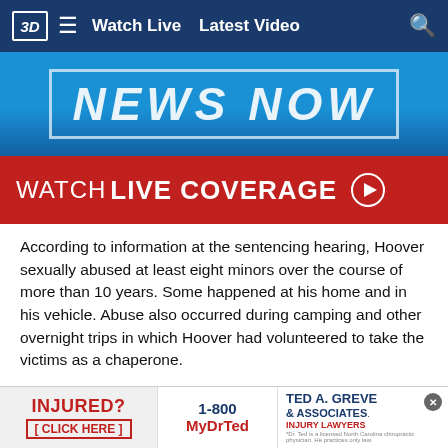Watch Live  Latest Video
[Figure (screenshot): News Now banner with blue background and white italic text]
[Figure (infographic): Red banner with white text: WATCH LIVE COVERAGE with play button icon]
According to information at the sentencing hearing, Hoover sexually abused at least eight minors over the course of more than 10 years. Some happened at his home and in his vehicle. Abuse also occurred during camping and other overnight trips in which Hoover had volunteered to take the victims as a chaperone.
A federal jury found Hoover guilty of two counts of production of child pornography and one count of possession of child pornography. He is currently in federal custody... federal...
[Figure (infographic): Ad banner: INJURED? [CLICK HERE] | 1-800 MyDrTed | TED A. GREVE & ASSOCIATES INJURY LAWYERS]